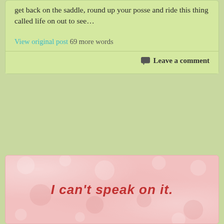get back on the saddle, round up your posse and ride this thing called life on out to see…
View original post 69 more words
Leave a comment
[Figure (illustration): Pink textured background card with red handwritten-style text reading 'I can't speak on it.']